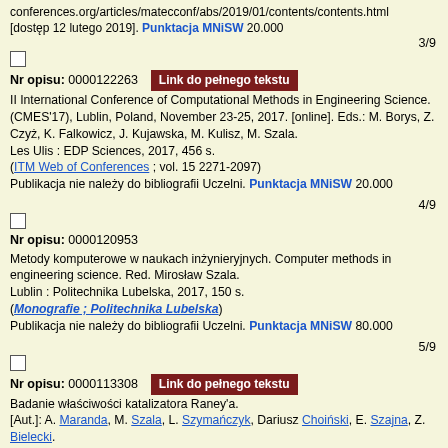conferences.org/articles/matecconf/abs/2019/01/contents/contents.html [dostęp 12 lutego 2019]. Punktacja MNiSW 20.000
3/9
Nr opisu: 0000122263  Link do pełnego tekstu
II International Conference of Computational Methods in Engineering Science. (CMES'17), Lublin, Poland, November 23-25, 2017. [online]. Eds.: M. Borys, Z. Czyż, K. Falkowicz, J. Kujawska, M. Kulisz, M. Szala. Les Ulis : EDP Sciences, 2017, 456 s. (ITM Web of Conferences ; vol. 15 2271-2097) Publikacja nie należy do bibliografii Uczelni. Punktacja MNiSW 20.000
4/9
Nr opisu: 0000120953
Metody komputerowe w naukach inżynieryjnych. Computer methods in engineering science. Red. Mirosław Szala. Lublin : Politechnika Lubelska, 2017, 150 s. (Monografie ; Politechnika Lubelska) Publikacja nie należy do bibliografii Uczelni. Punktacja MNiSW 80.000
5/9
Nr opisu: 0000113308  Link do pełnego tekstu
Badanie właściwości katalizatora Raney'a. [Aut.]: A. Maranda, M. Szala, L. Szymańczyk, Dariusz Choiński, E. Szajna, Z. Bielecki. -Mater. Wysokoenerg. 2016 t. 8, s. 103-110, bibliogr. 5 poz.. Punktacja MNiSW 5.000